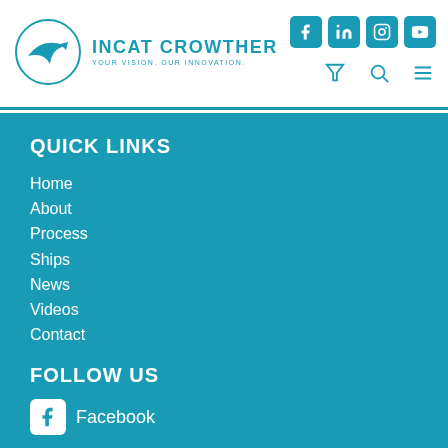[Figure (logo): Incat Crowther logo with circular swoosh graphic and teal text reading INCAT CROWTHER / YOUR VISION. OUR INNOVATION.]
[Figure (infographic): Social media icons: Facebook, LinkedIn, Instagram, YouTube in teal rounded squares, plus filter, search, and hamburger menu icons]
QUICK LINKS
Home
About
Process
Ships
News
Videos
Contact
FOLLOW US
Facebook